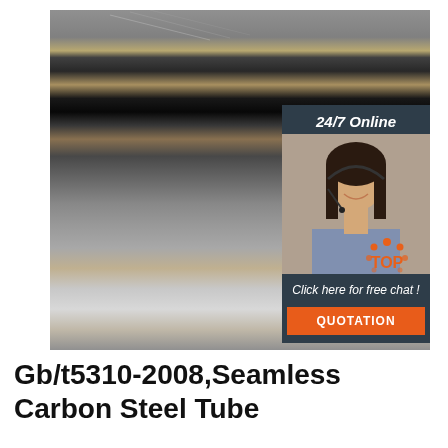[Figure (photo): Photo of stacked steel plates/sheets outdoors on gravel ground, with an overlay panel showing a customer service agent and call-to-action buttons for 24/7 online chat and quotation. A 'TOP' logo with orange dots appears in the lower right corner of the image.]
Gb/t5310-2008,Seamless Carbon Steel Tube